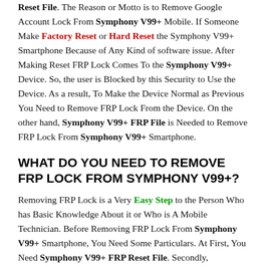Reset File. The Reason or Motto is to Remove Google Account Lock From Symphony V99+ Mobile. If Someone Make Factory Reset or Hard Reset the Symphony V99+ Smartphone Because of Any Kind of software issue. After Making Reset FRP Lock Comes To the Symphony V99+ Device. So, the user is Blocked by this Security to Use the Device. As a result, To Make the Device Normal as Previous You Need to Remove FRP Lock From the Device. On the other hand, Symphony V99+ FRP File is Needed to Remove FRP Lock From Symphony V99+ Smartphone.
WHAT DO YOU NEED TO REMOVE FRP LOCK FROM SYMPHONY V99+?
Removing FRP Lock is a Very Easy Step to the Person Who has Basic Knowledge About it or Who is A Mobile Technician. Before Removing FRP Lock From Symphony V99+ Smartphone, You Need Some Particulars. At First, You Need Symphony V99+ FRP Reset File. Secondly, Symphony V99+ FRP Reset Tool. That Means SPD ResearchDownload Tool Which is Used For MTK Device Flashing. Thirdly, Spreadtrum (SPD) USB Driver Must be Installed. At last,